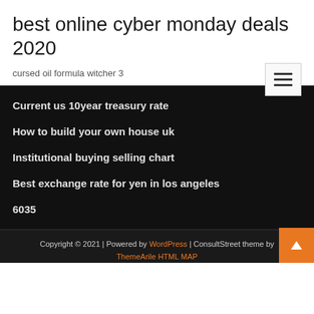best online cyber monday deals 2020
cursed oil formula witcher 3
Current us 10year treasury rate
How to build your own house uk
Institutional buying selling chart
Best exchange rate for yen in los angeles
6035
Copyright © 2021 | Powered by WordPress | ConsultStreet theme by ThemeArile HTML MAP